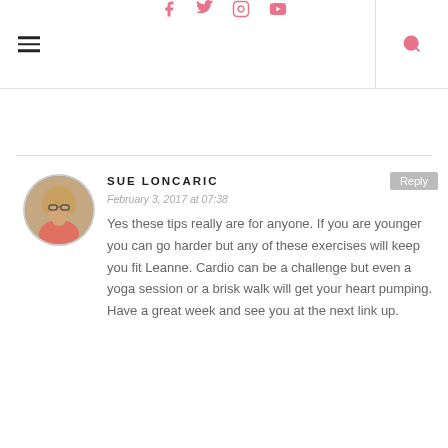Navigation header with hamburger menu, social icons (Facebook, Twitter, Instagram, YouTube), and search icon
SUE LONCARIC
February 3, 2017 at 07:38
Yes these tips really are for anyone. If you are younger you can go harder but any of these exercises will keep you fit Leanne. Cardio can be a challenge but even a yoga session or a brisk walk will get your heart pumping. Have a great week and see you at the next link up.